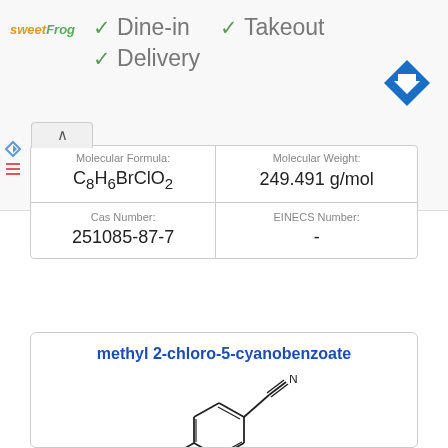[Figure (screenshot): Web page banner showing sweetFrog logo with checkmarks for Dine-in, Takeout, and Delivery service options, with navigation arrow icon in top right]
| Molecular Formula: | Molecular Weight: |
| --- | --- |
| C8H6BrClO2 | 249.491 g/mol |
| Cas Number: | EINECS Number: |
| 251085-87-7 | - |
methyl 2-chloro-5-cyanobenzoate
[Figure (schematic): Chemical structure diagram of methyl 2-chloro-5-cyanobenzoate showing benzene ring with CN group, Cl substituent, and OCH3 ester group]